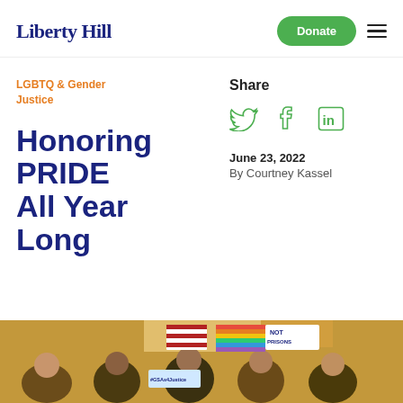Liberty Hill | Donate
LGBTQ & Gender Justice
Honoring PRIDE All Year Long
Share
June 23, 2022
By Courtney Kassel
[Figure (photo): Group of young activists holding signs including '#GSAs4Justice' and 'NOT PRISONS' with colorful flags in the background]